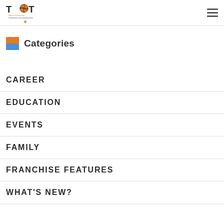Teams of Tomorrow — Fundamentals and Creative Basketball
Categories
CAREER
EDUCATION
EVENTS
FAMILY
FRANCHISE FEATURES
WHAT'S NEW?